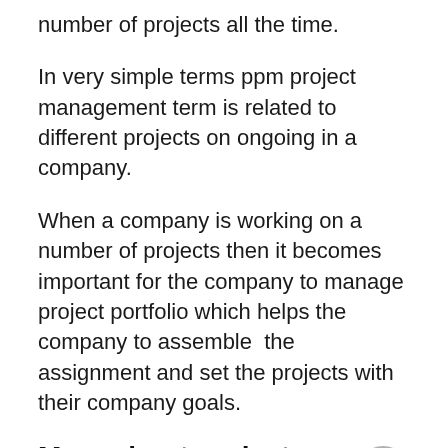number of projects all the time.
In very simple terms ppm project management term is related to different projects on ongoing in a company.
When a company is working on a number of projects then it becomes important for the company to manage project portfolio which helps the company to assemble  the assignment and set the projects with their company goals.
More about project portfolio management